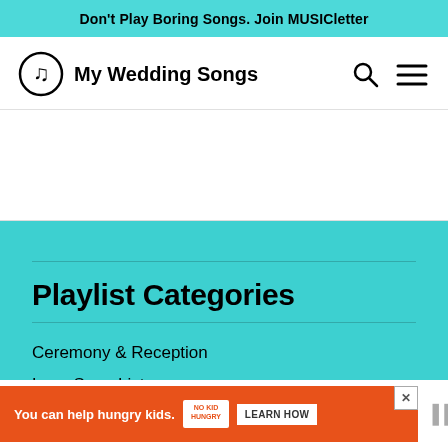Don't Play Boring Songs. Join MUSICletter
[Figure (logo): My Wedding Songs logo with musical note icon in a circle, search icon and hamburger menu on the right]
Playlist Categories
Ceremony & Reception
Love Song Lists
[Figure (infographic): Orange ad banner: You can help hungry kids. No Kid Hungry logo. LEARN HOW button. Close X button.]